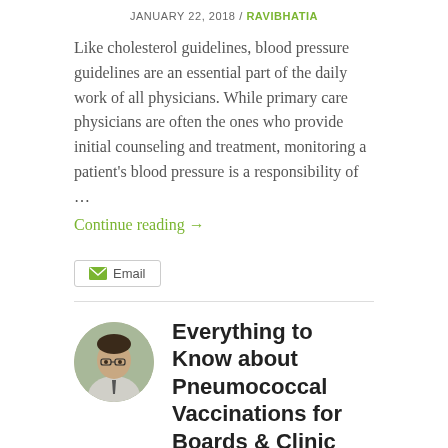JANUARY 22, 2018 / RAVIBHATIA
Like cholesterol guidelines, blood pressure guidelines are an essential part of the daily work of all physicians. While primary care physicians are often the ones who provide initial counseling and treatment, monitoring a patient's blood pressure is a responsibility of …
Continue reading →
Email
Everything to Know about Pneumococcal Vaccinations for Boards & Clinic
MARCH 2, 2017 / RAVIBHATIA
It's General Internal Medicine Week here @knowmedge! We love it for so many reasons. It makes up a significant part of the USMLE, ABIM, ABEM and PANCE boards. It is fun…